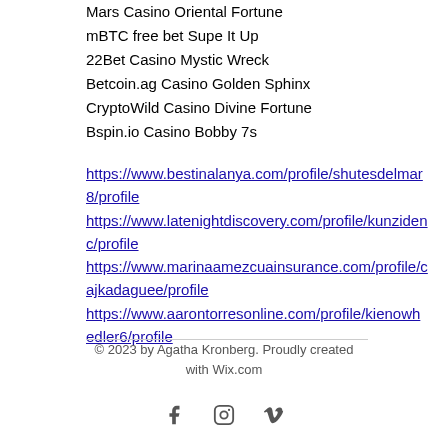Mars Casino Oriental Fortune
mBTC free bet Supe It Up
22Bet Casino Mystic Wreck
Betcoin.ag Casino Golden Sphinx
CryptoWild Casino Divine Fortune
Bspin.io Casino Bobby 7s
https://www.bestinalanya.com/profile/shutesdelmar8/profile
https://www.latenightdiscovery.com/profile/kunzidenc/profile
https://www.marinaamezcuainsurance.com/profile/cajkadaguee/profile
https://www.aarontorresonline.com/profile/kienowhedler6/profile
© 2023 by Agatha Kronberg. Proudly created with Wix.com